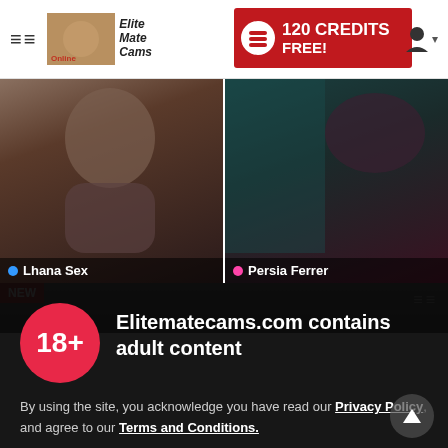EliteMateCams — 120 CREDITS FREE!
[Figure (screenshot): Two webcam thumbnails side by side: left shows 'Lhana Sex' (live indicator blue dot), right shows 'Persia Ferrer' (live indicator pink dot). Below is a partial third thumbnail with a NEW badge.]
Elitematecams.com contains adult content
By using the site, you acknowledge you have read our Privacy Policy, and agree to our Terms and Conditions.
We use cookies to optimize your experience, analyze traffic, and deliver more personalized service. To learn more, please see our Privacy Policy.
I AGREE